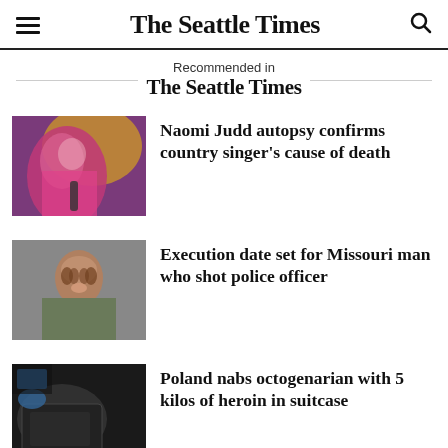The Seattle Times
Recommended in
The Seattle Times
Naomi Judd autopsy confirms country singer's cause of death
Execution date set for Missouri man who shot police officer
Poland nabs octogenarian with 5 kilos of heroin in suitcase